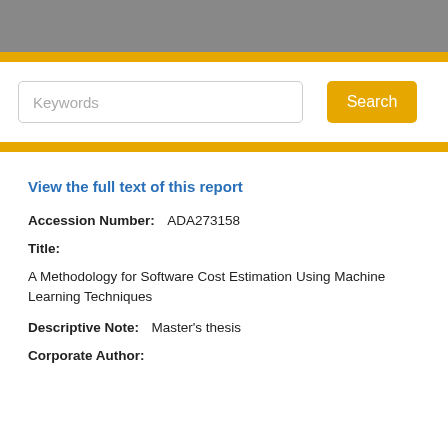Keywords   Search
View the full text of this report
Accession Number:   ADA273158
Title:
A Methodology for Software Cost Estimation Using Machine Learning Techniques
Descriptive Note:   Master's thesis
Corporate Author: